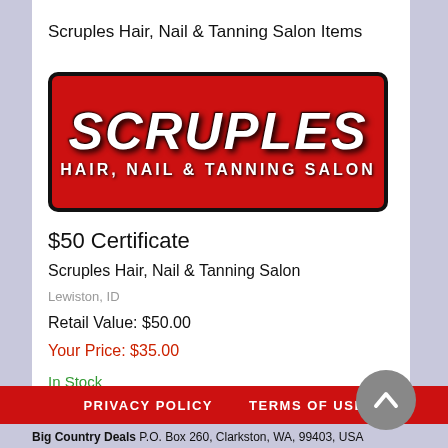Scruples Hair, Nail & Tanning Salon Items
[Figure (logo): Scruples Hair, Nail & Tanning Salon logo — red rounded rectangle with bold white italic SCRUPLES text and HAIR, NAIL & TANNING SALON subtitle]
$50 Certificate
Scruples Hair, Nail & Tanning Salon
Lewiston, ID
Retail Value: $50.00
Your Price: $35.00
In Stock
PRIVACY POLICY   TERMS OF USE
Big Country Deals P.O. Box 260, Clarkston, WA, 99403, USA